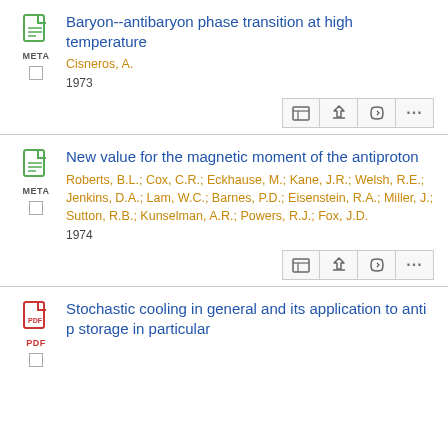Baryon--antibaryon phase transition at high temperature
Cisneros, A.
1973
New value for the magnetic moment of the antiproton
Roberts, B.L.; Cox, C.R.; Eckhause, M.; Kane, J.R.; Welsh, R.E.; Jenkins, D.A.; Lam, W.C.; Barnes, P.D.; Eisenstein, R.A.; Miller, J.; Sutton, R.B.; Kunselman, A.R.; Powers, R.J.; Fox, J.D.
1974
Stochastic cooling in general and its application to anti p storage in particular